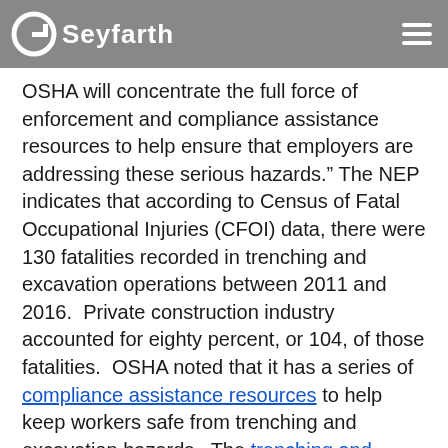Seyfarth
OSHA will concentrate the full force of enforcement and compliance assistance resources to help ensure that employers are addressing these serious hazards.” The NEP indicates that according to Census of Fatal Occupational Injuries (CFOI) data, there were 130 fatalities recorded in trenching and excavation operations between 2011 and 2016. Private construction industry accounted for eighty percent, or 104, of those fatalities. OSHA noted that it has a series of compliance assistance resources to help keep workers safe from trenching and excavation hazards. The trenching and excavation webpage provides information on trenching hazards and solutions.
The 2018 NEP mandates that the Area Offices,